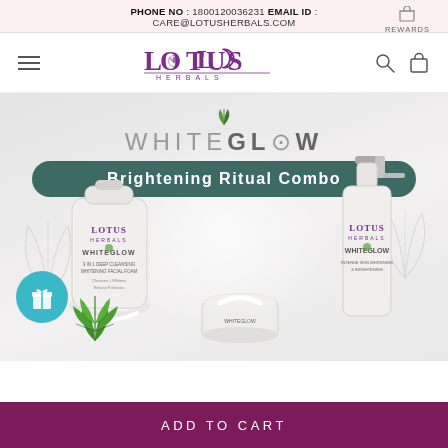PHONE NO : 1800120036231 EMAIL ID : CARE@LOTUSHERBALS.COM
[Figure (logo): Lotus Herbals logo with stylized lotus flower in purple, text LOTUS HERBALS]
[Figure (photo): WhiteGlow Brightening Ritual Combo product banner showing facial foam, cream jar, and serum bottle on grey background with decorative leaves]
ADD TO CART